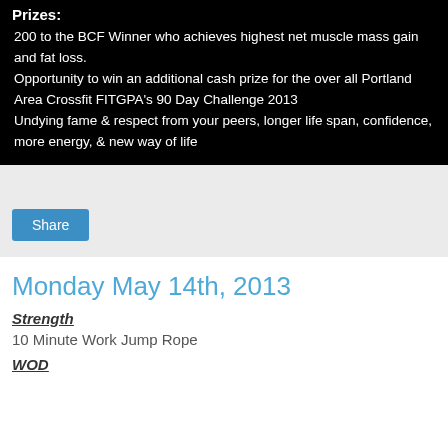Prizes:
200 to the BCF Winner who achieves highest net muscle mass gain and fat loss. Opportunity to win an additional cash prize for the over all Portland Area Crossfit FITGPA's 90 Day Challenge 2013 Undying fame & respect from your peers, longer life span, confidence, more energy, & new way of life
Share
Monday May 14th, 2013
Strength
10 Minute Work Jump Rope
WOD